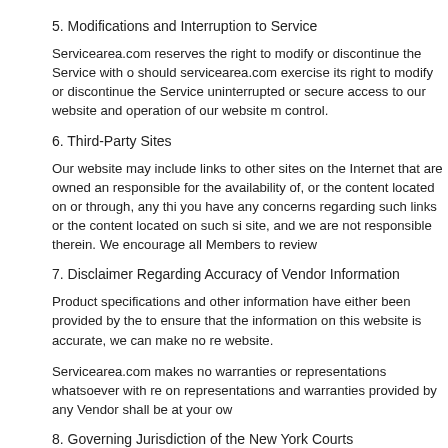5. Modifications and Interruption to Service
Servicearea.com reserves the right to modify or discontinue the Service with o should servicearea.com exercise its right to modify or discontinue the Service uninterrupted or secure access to our website and operation of our website m control.
6. Third-Party Sites
Our website may include links to other sites on the Internet that are owned an responsible for the availability of, or the content located on or through, any thi you have any concerns regarding such links or the content located on such si site, and we are not responsible therein. We encourage all Members to review
7. Disclaimer Regarding Accuracy of Vendor Information
Product specifications and other information have either been provided by the to ensure that the information on this website is accurate, we can make no re website.
Servicearea.com makes no warranties or representations whatsoever with re on representations and warranties provided by any Vendor shall be at your ow
8. Governing Jurisdiction of the New York Courts
Our website is operated and provided in the State of New York. As such, we a without giving effect to any choice of law rules. We make no representation th Accordingly, if you choose to access our site you agree to do so subject to the